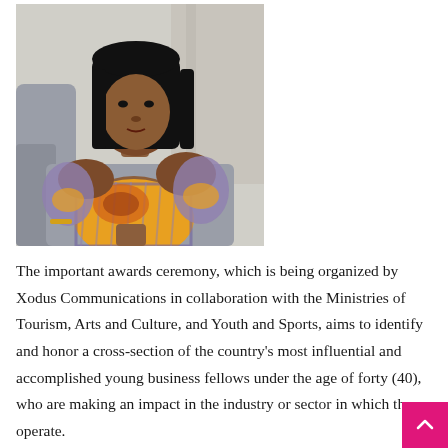[Figure (photo): A young Black woman wearing a colorful African print off-shoulder dress (yellow, orange, purple, and grey patterns) seated on a grey sofa, looking at the camera.]
The important awards ceremony, which is being organized by Xodus Communications in collaboration with the Ministries of Tourism, Arts and Culture, and Youth and Sports, aims to identify and honor a cross-section of the country's most influential and accomplished young business fellows under the age of forty (40), who are making an impact in the industry or sector in which they operate.